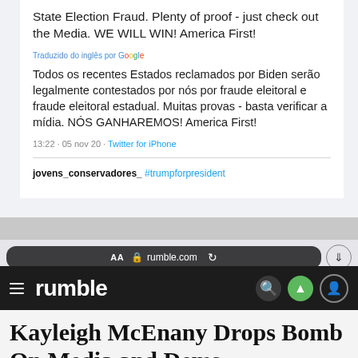State Election Fraud. Plenty of proof - just check out the Media. WE WILL WIN! America First!
Traduzido do inglês por Google
Todos os recentes Estados reclamados por Biden serão legalmente contestados por nós por fraude eleitoral e fraude eleitoral estadual. Muitas provas - basta verificar a mídia. NÓS GANHAREMOS! America First!
13:22 · 05 nov 20 · Twitter for iPhone
jovens_conservadores_ #trumpforpresident
[Figure (screenshot): Mobile browser address bar showing rumble.com with AA, lock icon, reload, and download button]
[Figure (screenshot): Rumble website navigation bar with hamburger menu, rumble logo, search, upload, and user icons]
Kayleigh McEnany Drops Bomb On Media and Dems